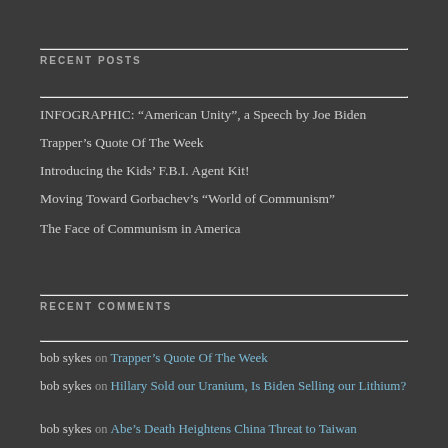RECENT POSTS
INFOGRAPHIC: “American Unity”, a Speech by Joe Biden
Trapper’s Quote Of The Week
Introducing the Kids’ F.B.I. Agent Kit!
Moving Toward Gorbachev’s “World of Communism”
The Face of Communism in America
RECENT COMMENTS
bob sykes on Trapper’s Quote Of The Week
bob sykes on Hillary Sold our Uranium, Is Biden Selling our Lithium?
bob sykes on Abe’s Death Heightens China Threat to Taiwan
bob sykes on The Iranian octopus predator at the US’ backyard